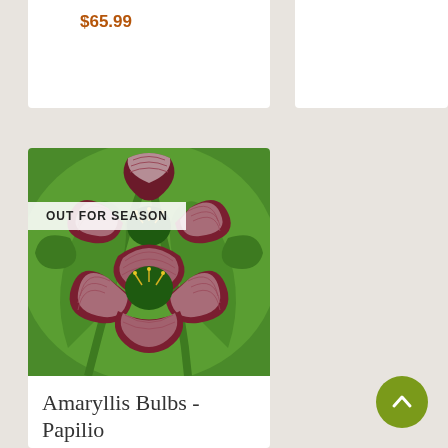$65.99
presence
$28.99 - $122.99
[Figure (photo): Photograph of Amaryllis Bulbs Papilio flowers with red and white striped petals against green foliage background, with OUT FOR SEASON badge overlay]
Amaryllis Bulbs - Papilio
Captivate your houseguests with this exotic variegated amaryllis
$21.99 - $34.99